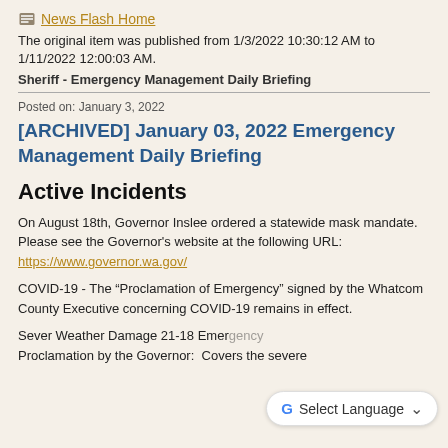News Flash Home
The original item was published from 1/3/2022 10:30:12 AM to 1/11/2022 12:00:03 AM.
Sheriff - Emergency Management Daily Briefing
Posted on: January 3, 2022
[ARCHIVED] January 03, 2022 Emergency Management Daily Briefing
Active Incidents
On August 18th, Governor Inslee ordered a statewide mask mandate.  Please see the Governor's website at the following URL:  https://www.governor.wa.gov/
COVID-19 - The “Proclamation of Emergency” signed by the Whatcom County Executive concerning COVID-19 remains in effect.
Sever Weather Damage 21-18 Emergency Proclamation by the Governor:  Covers the severe